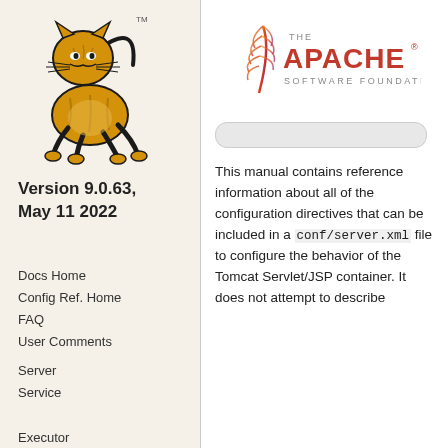[Figure (logo): Apache Tomcat logo — stylized tiger cat in gold/black with TM mark]
Version 9.0.63,
May 11 2022
[Figure (logo): The Apache Software Foundation logo with feather and red text]
Docs Home
Config Ref. Home
FAQ
User Comments
Server
Service
Executor
This manual contains reference information about all of the configuration directives that can be included in a conf/server.xml file to configure the behavior of the Tomcat Servlet/JSP container. It does not attempt to describe